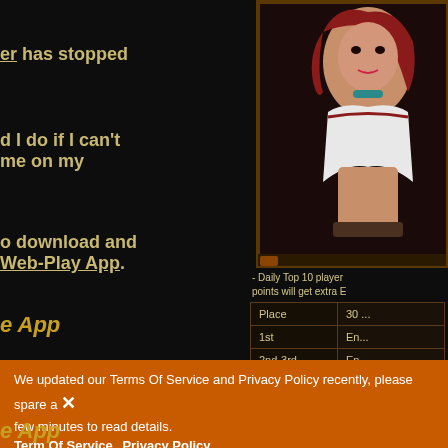er has stopped
d I do if I can't
me on my
o download and
Web-Play App.
e App
o download and
fficial Desktop
e App
[Figure (illustration): Fantasy game character - a woman with red hair wearing white outfit, game UI screenshot]
- Daily Top 10 player points will get extra E
| Place | 30 ... |
| --- | --- |
| 1st | En... |
| 2nd-3rd | En... |
We updated our Terms Of Service and Privacy Policy recently, please spare a ✕ few minutes to read details.
Term Of Service  Privacy Policy